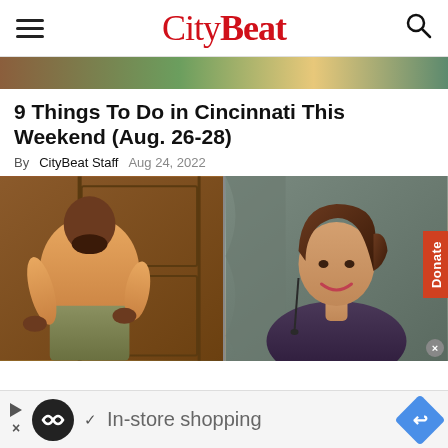CityBeat
[Figure (photo): Decorative top image strip with colorful background]
9 Things To Do in Cincinnati This Weekend (Aug. 26-28)
By CityBeat Staff   Aug 24, 2022
[Figure (photo): Two side-by-side photos: left shows a man in an orange shirt seated; right shows a woman with short brown hair smiling, with a red Donate button on the far right]
In-store shopping